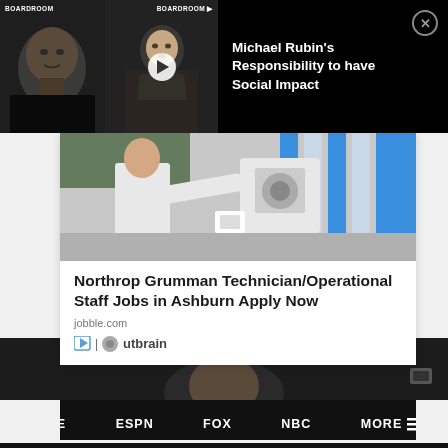[Figure (screenshot): Video overlay bar with two thumbnails (Boardroom branded) showing two men, and a play button. Right side shows video title on black background with close button.]
Michael Rubin’s Responsibility to have Social Impact
[Figure (photo): Advertisement image showing a person in white near industrial/lab equipment with blue panels in background.]
Northrop Grumman Technician/Operational Staff Jobs in Ashburn Apply Now
jobble.com
[Figure (logo): Outbrain logo with play icon and Outbrain wordmark]
[Figure (screenshot): Bottom dark band showing a partial video thumbnail.]
HOME   ESPN   FOX   NBC   MORE